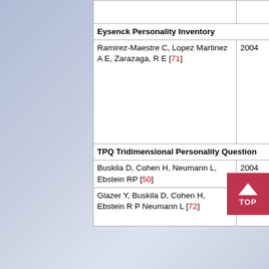| Author | Year | Sample | Tool |
| --- | --- | --- | --- |
| (empty top row) |  |  |  |
| Eysenck Personality Inventory |  |  |  |
| Ramirez-Maestre C, Lopez Martinez A E, Zarazaga, R E [71] | 2004 | FM 14
OA 22
Arthrosis 21
Cancer 13
Lumbago 9
OP 8
Neuralgia 4
Hernia 3
Trauma 2 | Eysenck personality Inventory |
| TPQ Tridimensional Personality Questionnaire |  |  |  |
| Buskila D, Cohen H, Neumann L, Ebstein RP [50] | 2004 | FM 81
NC 458 | TPQ |
| Glazer Y, Buskila D, Cohen H, Ebstein R P Neumann L [72] | 2010 | FM 129
Undiagnosed relatives with FM 27
NC 30 | TPQ |